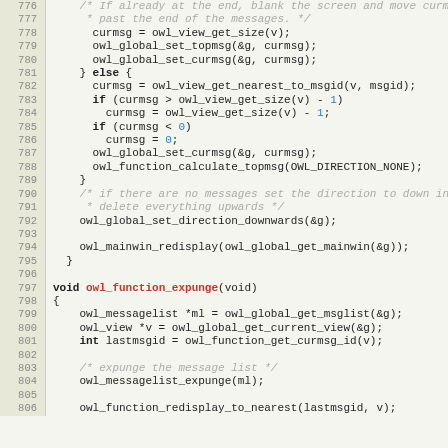[Figure (screenshot): Source code viewer showing C code lines 776-805, with line numbers on left gutter and syntax-highlighted code on right.]